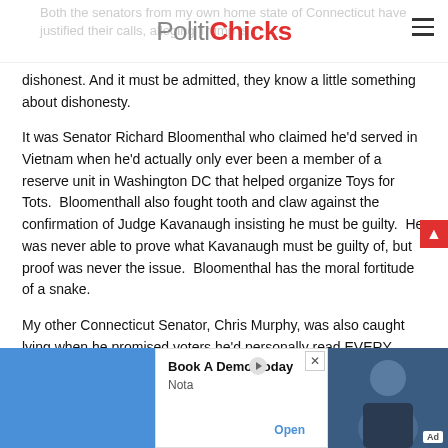PolitiChicks
Both the senators from my own home state of Connecticut have justified their calls, alleging Trump is dishonest. And it must be admitted, they know a little something about dishonesty.
It was Senator Richard Bloomenthal who claimed he'd served in Vietnam when he'd actually only ever been a member of a reserve unit in Washington DC that helped organize Toys for Tots.  Bloomenthall also fought tooth and claw against the confirmation of Judge Kavanaugh insisting he must be guilty.  He was never able to prove what Kavanaugh must be guilty of, but proof was never the issue.  Bloomenthal has the moral fortitude of a snake.
My other Connecticut Senator, Chris Murphy, was also caught lying when he promised voters he'd personally read EVERY
[Figure (screenshot): Advertisement banner: 'Book A Demo Today' by Nota with Open button and photo of a man, alongside a blue background on the left.]